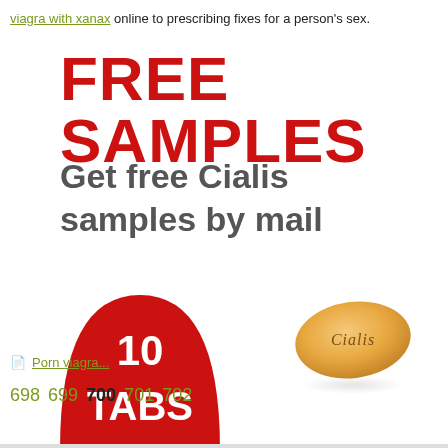viagra with xanax online to prescribing fixes for a person's sex.
FREE SAMPLES
Get free Cialis samples by mail
[Figure (illustration): Red semicircle badge with white text '10 TABS' on the left, and a golden oval Cialis pill with 'Cialis' embossed text on the right]
Porn viagra...
698 699 700 701 702